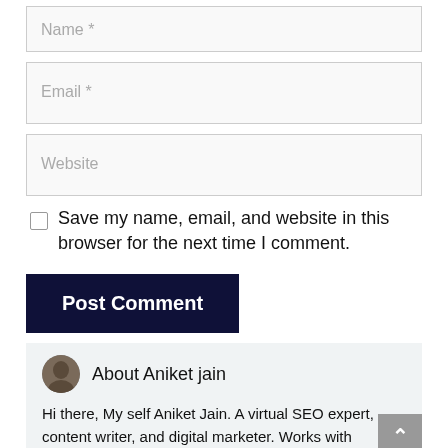Name *
Email *
Website
Save my name, email, and website in this browser for the next time I comment.
Post Comment
About Aniket jain
Hi there, My self Aniket Jain. A virtual SEO expert, content writer, and digital marketer. Works with